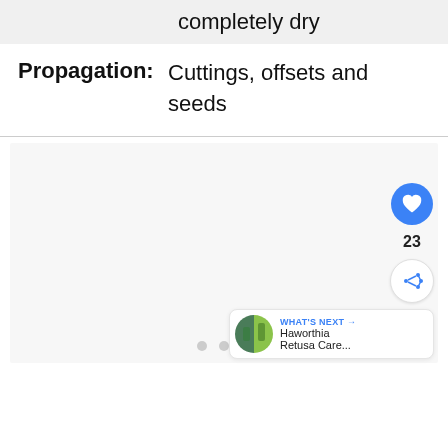completely dry
Propagation: Cuttings, offsets and seeds
[Figure (photo): Large image placeholder area with three navigation dots at the bottom, likely a plant care photo carousel]
23
WHAT'S NEXT → Haworthia Retusa Care...